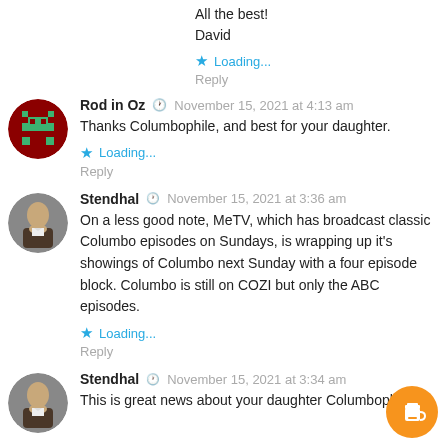All the best!
David
★ Loading...
Reply
Rod in Oz  ◷  November 15, 2021 at 4:13 am
Thanks Columbophile, and best for your daughter.
★ Loading...
Reply
Stendhal  ◷  November 15, 2021 at 3:36 am
On a less good note, MeTV, which has broadcast classic Columbo episodes on Sundays, is wrapping up it's showings of Columbo next Sunday with a four episode block. Columbo is still on COZI but only the ABC episodes.
★ Loading...
Reply
Stendhal  ◷  November 15, 2021 at 3:34 am
This is great news about your daughter Columbophile!